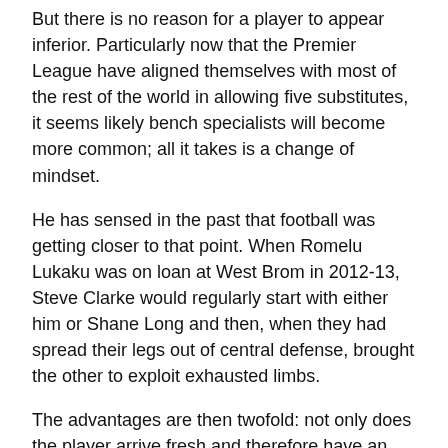But there is no reason for a player to appear inferior. Particularly now that the Premier League have aligned themselves with most of the rest of the world in allowing five substitutes, it seems likely bench specialists will become more common; all it takes is a change of mindset.
He has sensed in the past that football was getting closer to that point. When Romelu Lukaku was on loan at West Brom in 2012-13, Steve Clarke would regularly start with either him or Shane Long and then, when they had spread their legs out of central defense, brought the other to exploit exhausted limbs.
The advantages are then twofold: not only does the player arrive fresh and therefore have an advantage against tired opponents, but the player who starts knows that he can play hard from the start because his game will probably only last about an hour. – and who in turn should exhaust his direct opponent.
While this is useful in the center of the pitch, it is perhaps